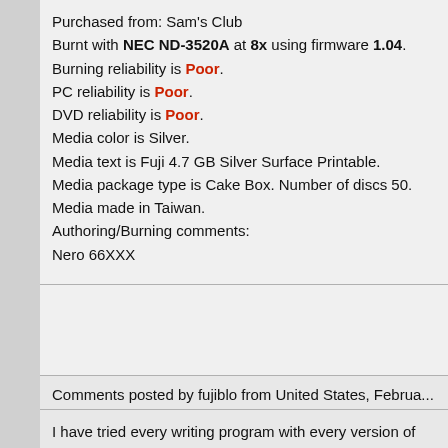Purchased from: Sam's Club
Burnt with NEC ND-3520A at 8x using firmware 1.04.
Burning reliability is Poor.
PC reliability is Poor.
DVD reliability is Poor.
Media color is Silver.
Media text is Fuji 4.7 GB Silver Surface Printable.
Media package type is Cake Box. Number of discs 50.
Media made in Taiwan.
Authoring/Burning comments:
Nero 66XXX
Comments posted by fujiblo from United States, Februa...
I have tried every writing program with every version of f... could get them to write it was a coaster
Additional information: